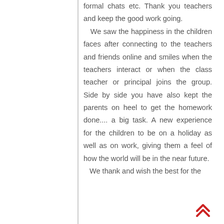formal chats etc. Thank you teachers and keep the good work going. We saw the happiness in the children faces after connecting to the teachers and friends online and smiles when the teachers interact or when the class teacher or principal joins the group. Side by side you have also kept the parents on heel to get the homework done.... a big task. A new experience for the children to be on a holiday as well as on work, giving them a feel of how the world will be in the near future. We thank and wish the best for the